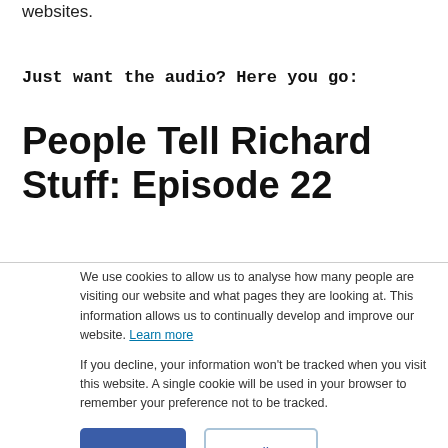websites.
Just want the audio? Here you go:
People Tell Richard Stuff: Episode 22
We use cookies to allow us to analyse how many people are visiting our website and what pages they are looking at. This information allows us to continually develop and improve our website. Learn more
If you decline, your information won't be tracked when you visit this website. A single cookie will be used in your browser to remember your preference not to be tracked.
Accept  Decline